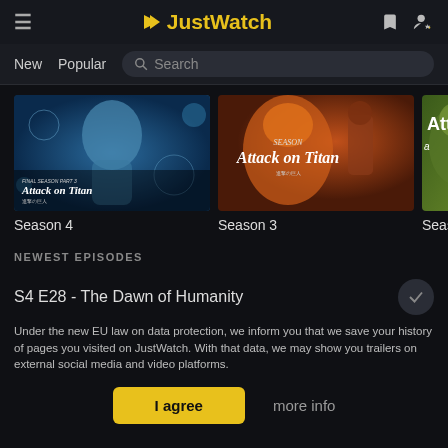JustWatch
New   Popular   Search
[Figure (screenshot): Attack on Titan Season 4 poster thumbnail]
Season 4
[Figure (screenshot): Attack on Titan Season 3 poster thumbnail]
Season 3
[Figure (screenshot): Attack on Titan Season 2 poster thumbnail (cropped)]
Season 2
NEWEST EPISODES
S4 E28 - The Dawn of Humanity
Under the new EU law on data protection, we inform you that we save your history of pages you visited on JustWatch. With that data, we may show you trailers on external social media and video platforms.
I agree   more info